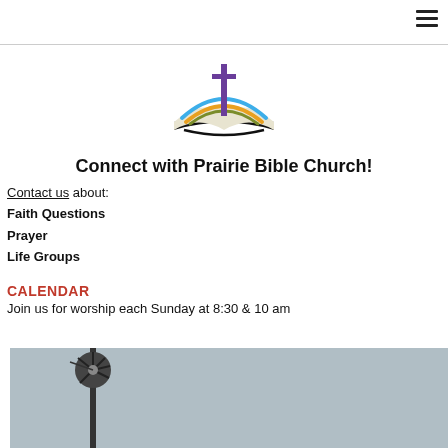[Figure (logo): Prairie Bible Church logo: open book with colorful arcs (blue, gold, green) and a purple cross/torch above]
Connect with Prairie Bible Church!
Contact us about:
Faith Questions
Prayer
Life Groups
CALENDAR
Join us for worship each Sunday at 8:30  & 10 am
[Figure (photo): Photo of a windmill against a blue-grey sky]